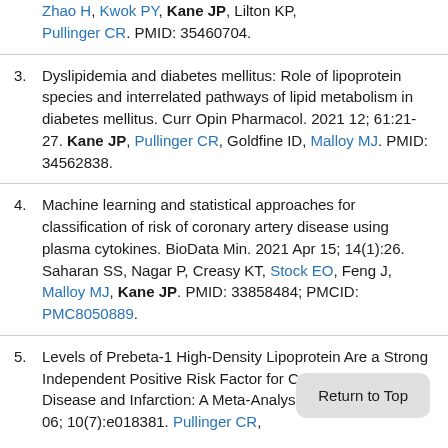Zhao H, Kwok PY, Kane JP, Lilton KP, Pullinger CR. PMID: 35460704.
3. Dyslipidemia and diabetes mellitus: Role of lipoprotein species and interrelated pathways of lipid metabolism in diabetes mellitus. Curr Opin Pharmacol. 2021 12; 61:21-27. Kane JP, Pullinger CR, Goldfine ID, Malloy MJ. PMID: 34562838.
4. Machine learning and statistical approaches for classification of risk of coronary artery disease using plasma cytokines. BioData Min. 2021 Apr 15; 14(1):26. Saharan SS, Nagar P, Creasy KT, Stock EO, Feng J, Malloy MJ, Kane JP. PMID: 33858484; PMCID: PMC8050889.
5. Levels of Prebeta-1 High-Density Lipoprotein Are a Strong Independent Positive Risk Factor for Coronary Heart Disease and Infarction: A Meta-Analysis. J Am... 2021 04 06; 10(7):e018381. Pullinger CR,